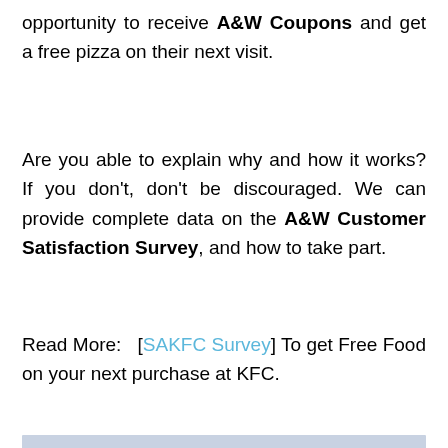opportunity to receive A&W Coupons and get a free pizza on their next visit.
Are you able to explain why and how it works? If you don't, don't be discouraged. We can provide complete data on the A&W Customer Satisfaction Survey, and how to take part.
Read More: [SAKFC Survey] To get Free Food on your next purchase at KFC.
[Figure (photo): A&W restaurant exterior with red signage and logo visible]